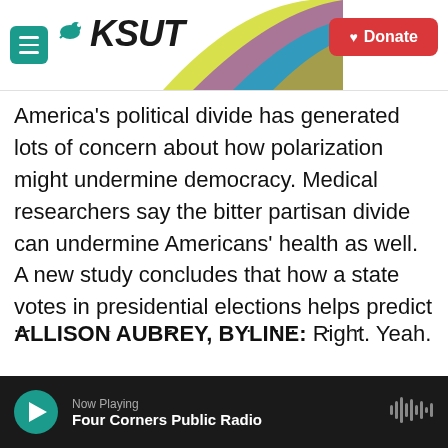KSUT
America's political divide has generated lots of concern about how polarization might undermine democracy. Medical researchers say the bitter partisan divide can undermine Americans' health as well. A new study concludes that how a state votes in presidential elections helps predict life expectancy for people living in that state. NPR's Allison Aubrey is here to fill us in. Allison, when I think about life expectancy, I think about diet, exercise, environment even. But politics, you got to fill me in on that one.
ALLISON AUBREY, BYLINE: Right. Yeah. Well, it may
Now Playing
Four Corners Public Radio